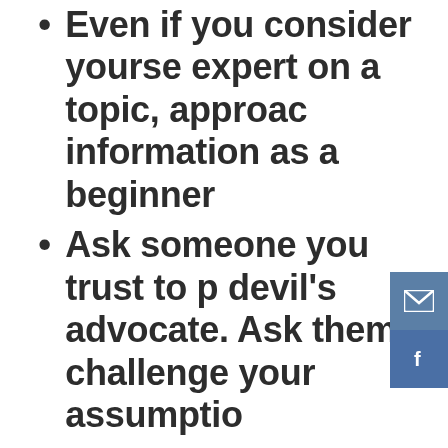Even if you consider yourself an expert on a topic, approach new information as a beginner.
Ask someone you trust to play devil's advocate. Ask them to challenge your assumptions.
Don't let a limited amount of experience (particularly one negative experience) carry too much weight. Be sure to envision the future, not just replay the past.
Remind yourself that you have biases (being open to knowing this can help).